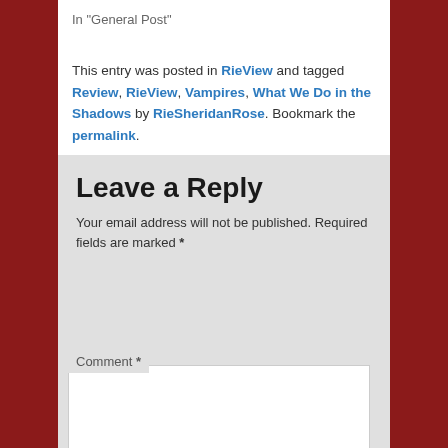In "General Post"
This entry was posted in RieView and tagged Review, RieView, Vampires, What We Do in the Shadows by RieSheridanRose. Bookmark the permalink.
Leave a Reply
Your email address will not be published. Required fields are marked *
Comment *